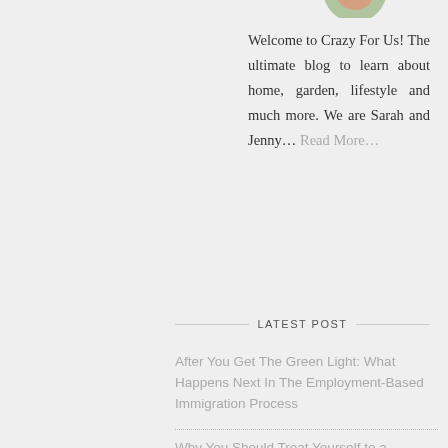[Figure (photo): Partial circular avatar image cropped at top of page]
Welcome to Crazy For Us! The ultimate blog to learn about home, garden, lifestyle and much more. We are Sarah and Jenny... Read More...
LATEST POST
After You Get The Green Light: What Happens Next In The Employment-Based Immigration Process
Why You Should Treat Yourself to a Personal Gift